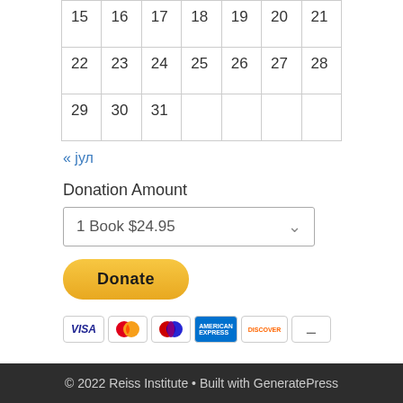| 15 | 16 | 17 | 18 | 19 | 20 | 21 |
| 22 | 23 | 24 | 25 | 26 | 27 | 28 |
| 29 | 30 | 31 |  |  |  |  |
« јул
Donation Amount
1 Book $24.95
[Figure (other): PayPal Donate button with payment icons (Visa, Mastercard, PayPal, Amex, Discover, other)]
© 2022 Reiss Institute • Built with GeneratePress